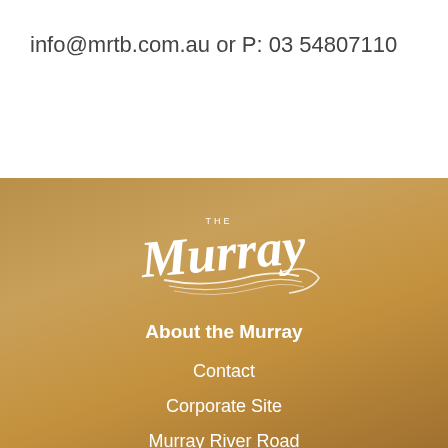info@mrtb.com.au or P: 03 54807110
[Figure (logo): The Murray tourism logo in white cursive script on golden-brown background]
About the Murray
Contact
Corporate Site
Murray River Road